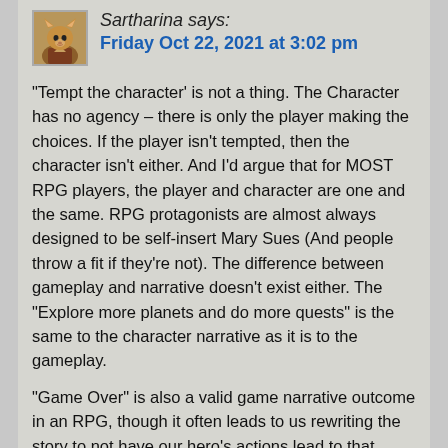Sartharina says:
Friday Oct 22, 2021 at 3:02 pm
“Tempt the character’ is not a thing. The Character has no agency – there is only the player making the choices. If the player isn’t tempted, then the character isn’t either. And I’d argue that for MOST RPG players, the player and character are one and the same. RPG protagonists are almost always designed to be self-insert Mary Sues (And people throw a fit if they’re not). The difference between gameplay and narrative doesn’t exist either. The “Explore more planets and do more quests” is the same to the character narrative as it is to the gameplay.
“Game Over” is also a valid game narrative outcome in an RPG, though it often leads to us rewriting the story to not have our hero’s actions lead to that outcome. The Player giving scarce resources to an NRC in need